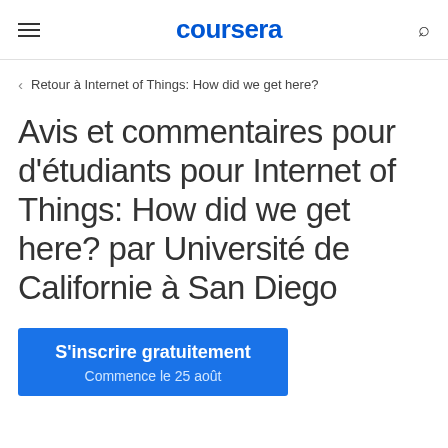coursera
Retour à Internet of Things: How did we get here?
Avis et commentaires pour d'étudiants pour Internet of Things: How did we get here? par Université de Californie à San Diego
S'inscrire gratuitement
Commence le 25 août